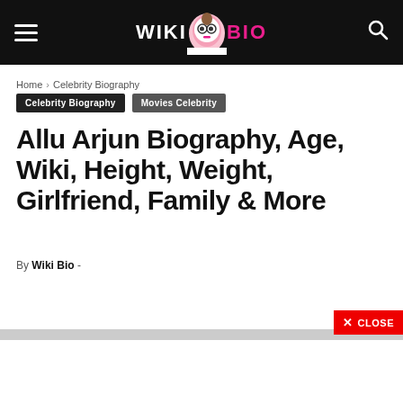WIKI BIO
Home › Celebrity Biography
Celebrity Biography
Movies Celebrity
Allu Arjun Biography, Age, Wiki, Height, Weight, Girlfriend, Family & More
By Wiki Bio -